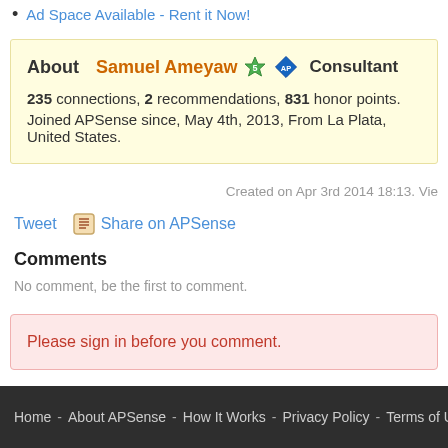Ad Space Available - Rent it Now!
About Samuel Ameyaw   Consultant
235 connections, 2 recommendations, 831 honor points.
Joined APSense since, May 4th, 2013, From La Plata, United States.
Created on Apr 3rd 2014 18:13. Vie
Tweet   Share on APSense
Comments
No comment, be the first to comment.
Please sign in before you comment.
Home - About APSense - How It Works - Privacy Policy - Terms of Use - Contact Us